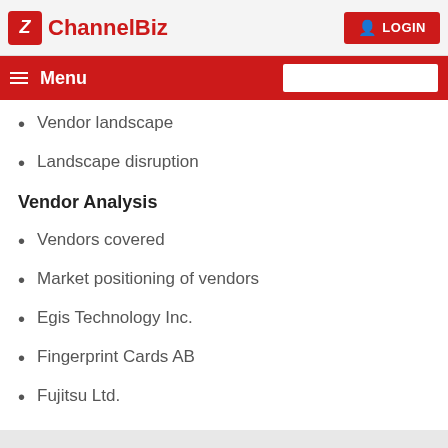ChannelBiz | LOGIN
Menu
Vendor landscape
Landscape disruption
Vendor Analysis
Vendors covered
Market positioning of vendors
Egis Technology Inc.
Fingerprint Cards AB
Fujitsu Ltd.